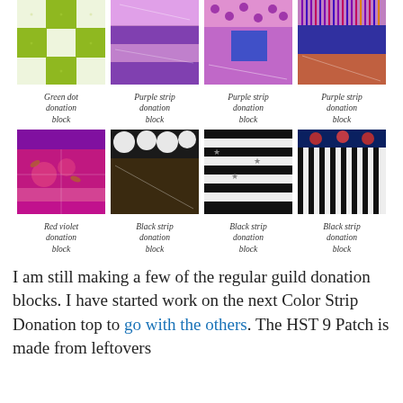[Figure (photo): Grid of 8 quilt donation blocks: top row shows Green dot, Purple strip (x3); bottom row shows Red violet, Black strip (x3)]
Green dot donation block
Purple strip donation block
Purple strip donation block
Purple strip donation block
Red violet donation block
Black strip donation block
Black strip donation block
Black strip donation block
I am still making a few of the regular guild donation blocks. I have started work on the next Color Strip Donation top to go with the others. The HST 9 Patch is made from leftovers